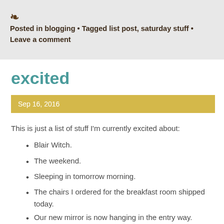Posted in blogging • Tagged list post, saturday stuff • Leave a comment
excited
Sep 16, 2016
This is just a list of stuff I'm currently excited about:
Blair Witch.
The weekend.
Sleeping in tomorrow morning.
The chairs I ordered for the breakfast room shipped today.
Our new mirror is now hanging in the entry way.